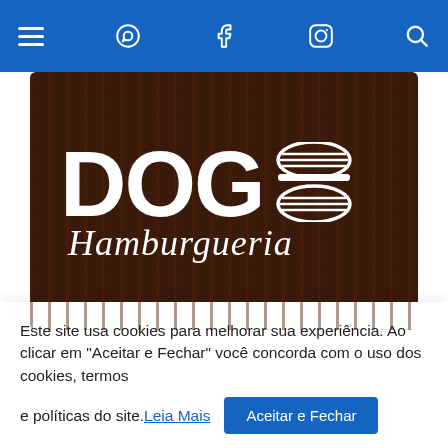Navigation bar with hamburger menu, WhatsApp, Facebook, Instagram icons and search icon
[Figure (logo): Dog Hamburgueria logo on dark wood background — large white bold text 'DOG' with a hamburger icon on the right, and 'Hamburgueria' in white italic script below]
● ● ●  (slideshow dots, first active)
[Figure (other): Blue banner/section bar]
Este site usa cookies para melhorar sua experiência. Ao clicar em "Aceitar e Fechar" você concorda com o uso dos cookies, termos
e políticas do site. Leia Mais
Aceitar e Fechar